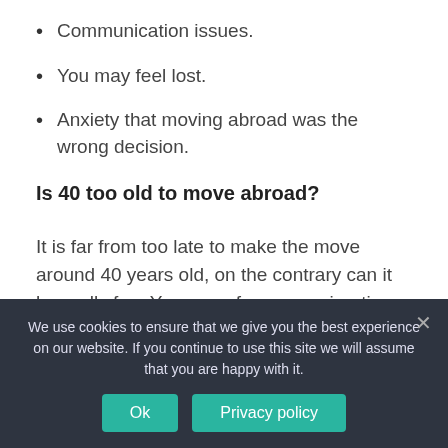Communication issues.
You may feel lost.
Anxiety that moving abroad was the wrong decision.
Is 40 too old to move abroad?
It is far from too late to make the move around 40 years old, on the contrary can it be really fun. You are, of course, migrating to another location and it will take time to build up a new social network, you might have to learn another language
We use cookies to ensure that we give you the best experience on our website. If you continue to use this site we will assume that you are happy with it.